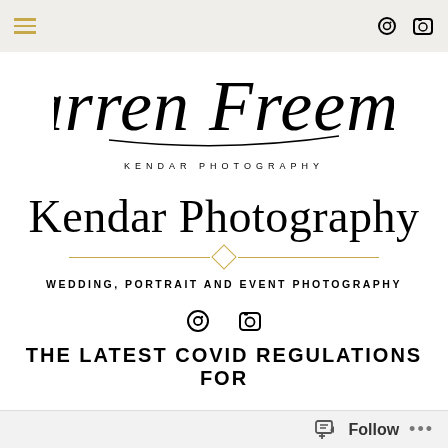Navigation bar with hamburger menu and social icons
[Figure (logo): Darren Freeman script logo with 'KENDAR PHOTOGRAPHY' text below]
Kendar Photography
WEDDING, PORTRAIT AND EVENT PHOTOGRAPHY
[Figure (illustration): Two social media icons (camera/photo icons)]
THE LATEST COVID REGULATIONS FOR
Follow ...